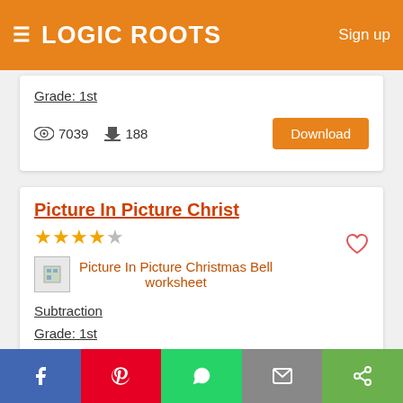LOGIC ROOTS — Sign up
Grade: 1st
7039 views   188 downloads   Download
Picture In Picture Christ
★★★★½  (4.5 stars)
[Figure (illustration): Small thumbnail image placeholder for Picture In Picture Christmas Bell worksheet]
Picture In Picture Christmas Bell worksheet
Subtraction
Grade: 1st
5446 views   42 downloads   Download
Color Me Angel
Facebook  Pinterest  WhatsApp  Email  Share